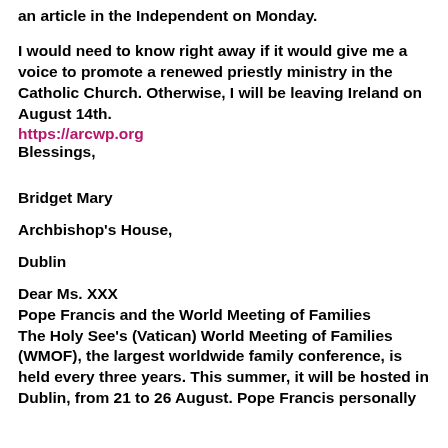an article in the Independent on Monday.
I would need to know right away if it would give me a voice to promote a renewed priestly ministry in the Catholic Church. Otherwise, I will be leaving Ireland on August 14th.
https://arcwp.org
Blessings,
Bridget Mary
Archbishop's House,
Dublin
Dear Ms. XXX
Pope Francis and the World Meeting of Families
The Holy See's (Vatican) World Meeting of Families (WMOF), the largest worldwide family conference, is held every three years. This summer, it will be hosted in Dublin, from 21 to 26 August. Pope Francis personally